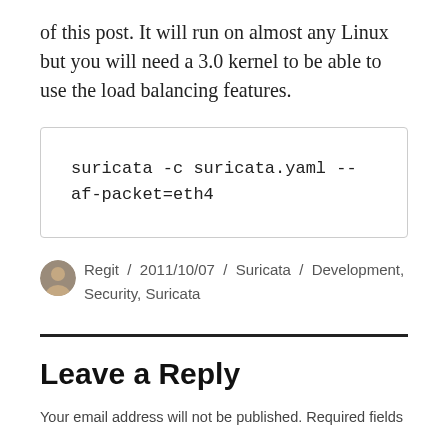of this post. It will run on almost any Linux but you will need a 3.0 kernel to be able to use the load balancing features.
suricata -c suricata.yaml --af-packet=eth4
Regit / 2011/10/07 / Suricata / Development, Security, Suricata
Leave a Reply
Your email address will not be published. Required fields